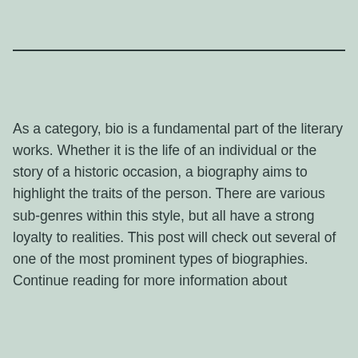As a category, bio is a fundamental part of the literary works. Whether it is the life of an individual or the story of a historic occasion, a biography aims to highlight the traits of the person. There are various sub-genres within this style, but all have a strong loyalty to realities. This post will check out several of one of the most prominent types of biographies. Continue reading for more information about